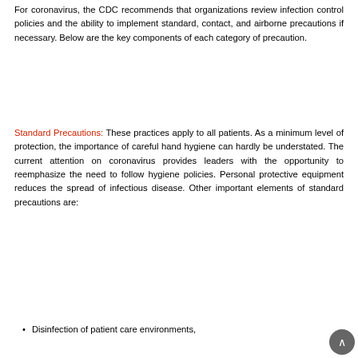For coronavirus, the CDC recommends that organizations review infection control policies and the ability to implement standard, contact, and airborne precautions if necessary. Below are the key components of each category of precaution.
Standard Precautions: These practices apply to all patients. As a minimum level of protection, the importance of careful hand hygiene can hardly be understated. The current attention on coronavirus provides leaders with the opportunity to reemphasize the need to follow hygiene policies. Personal protective equipment reduces the spread of infectious disease. Other important elements of standard precautions are:
Disinfection of patient care environments,